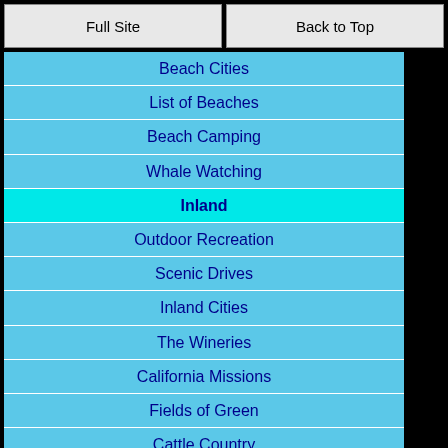Full Site
Back to Top
Beach Cities
List of Beaches
Beach Camping
Whale Watching
Inland
Outdoor Recreation
Scenic Drives
Inland Cities
The Wineries
California Missions
Fields of Green
Cattle Country
YOUR Favorites
Your Favorites
Stay in Touch
Contact Me
Privacy Policy